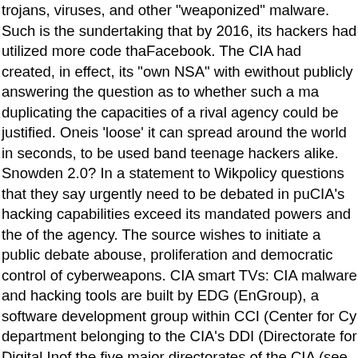trojans, viruses, and other "weaponized" malware. Such is the scope of this undertaking that by 2016, its hackers had utilized more code than Facebook. The CIA had created, in effect, its "own NSA" with even less accountability and without publicly answering the question as to whether such a massive budgetary spend duplicating the capacities of a rival agency could be justified. Once a cyberweapon is 'loose' it can spread around the world in seconds, to be used by rival states, cyber mafia and teenage hackers alike. Snowden 2.0? In a statement to WikiLeaks the source details policy questions that they say urgently need to be debated in public, including whether the CIA's hacking capabilities exceed its mandated powers and the problem of public oversight of the agency. The source wishes to initiate a public debate about the security, creation, use, proliferation and democratic control of cyberweapons. CIA malware targets iPhone, Android, smart TVs: CIA malware and hacking tools are built by EDG (Engineering Development Group), a software development group within CCI (Center for Cyber Intelligence), a department belonging to the CIA's DDI (Directorate for Digital Innovation). DDI is one of the five major directorates of the CIA (see this organizational chart for more details). The increasing sophistication of surveillance techniques has drawn comparisons with George Orwell's 1984, but "Weeping Angel", developed by the CIA's Embedded Devices Branch (EDB), which infests smart TVs, transforming them into covert microphones, is surely its most emblematic realization. Also cars and trucks: the CIA may have a role in the death of Michael Hastings: As of October 2014 the CIA was also looking at infecting the vehicle control systems used by modern